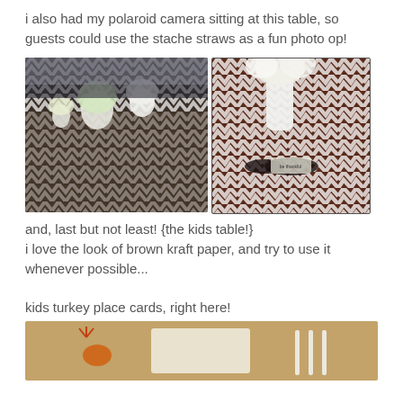i also had my polaroid camera sitting at this table, so guests could use the stache straws as a fun photo op!
[Figure (photo): Two photos side by side of a table with a brown and white chevron tablecloth decorated with white vases holding white and green flowers. Left photo shows a wide view of the long table. Right photo shows a close-up with mustache straws visible on the chevron tablecloth.]
and, last but not least! {the kids table!}
i love the look of brown kraft paper, and try to use it whenever possible...

kids turkey place cards, right here!
[Figure (photo): Partial photo of a kids table with brown kraft paper, orange turkey decorations, and white utensils visible.]